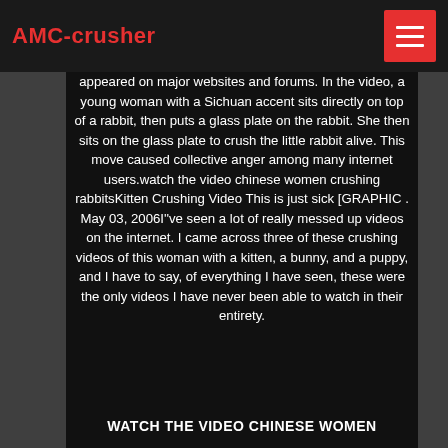AMC-crusher
appeared on major websites and forums. In the video, a young woman with a Sichuan accent sits directly on top of a rabbit, then puts a glass plate on the rabbit. She then sits on the glass plate to crush the little rabbit alive. This move caused collective anger among many internet users.watch the video chinese women crushing rabbitsKitten Crushing Video This is just sick [GRAPHIC . May 03, 2006I''ve seen a lot of really messed up videos on the internet. I came across three of these crushing videos of this woman with a kitten, a bunny, and a puppy, and I have to say, of everything I have seen, these were the only videos I have never been able to watch in their entirety.
WATCH THE VIDEO CHINESE WOMEN